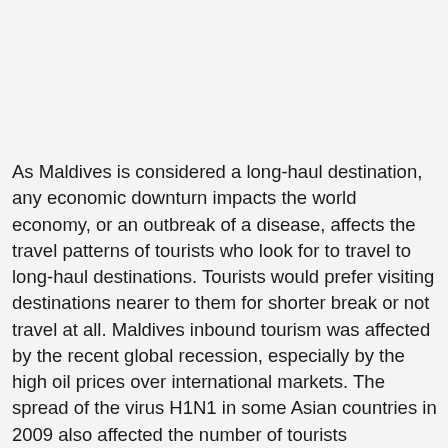As Maldives is considered a long-haul destination, any economic downturn impacts the world economy, or an outbreak of a disease, affects the travel patterns of tourists who look for to travel to long-haul destinations. Tourists would prefer visiting destinations nearer to them for shorter break or not travel at all. Maldives inbound tourism was affected by the recent global recession, especially by the high oil prices over international markets. The spread of the virus H1N1 in some Asian countries in 2009 also affected the number of tourists